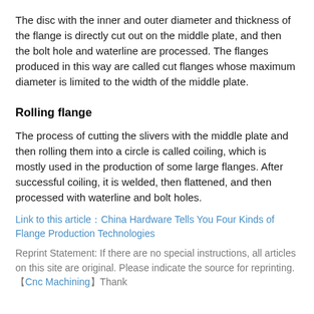The disc with the inner and outer diameter and thickness of the flange is directly cut out on the middle plate, and then the bolt hole and waterline are processed. The flanges produced in this way are called cut flanges whose maximum diameter is limited to the width of the middle plate.
Rolling flange
The process of cutting the slivers with the middle plate and then rolling them into a circle is called coiling, which is mostly used in the production of some large flanges. After successful coiling, it is welded, then flattened, and then processed with waterline and bolt holes.
Link to this article：China Hardware Tells You Four Kinds of Flange Production Technologies
Reprint Statement: If there are no special instructions, all articles on this site are original. Please indicate the source for reprinting.【Cnc Machining】Thank